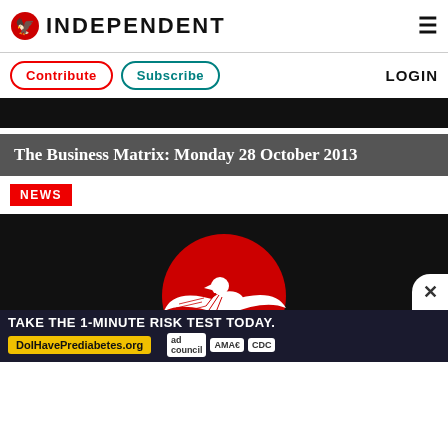INDEPENDENT
Contribute   Subscribe   LOGIN
[Figure (photo): Dark banner strip at top of article]
The Business Matrix: Monday 28 October 2013
NEWS
[Figure (logo): The Independent logo — white eagle/bird on red circle, on black background]
TAKE THE 1-MINUTE RISK TEST TODAY. DoIHavePrediabetes.org